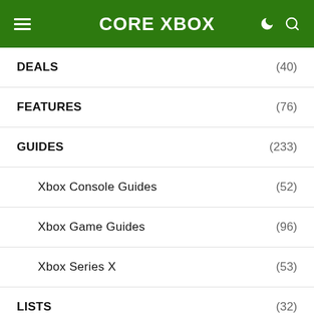CORE XBOX
DEALS (40)
FEATURES (76)
GUIDES (233)
Xbox Console Guides (52)
Xbox Game Guides (96)
Xbox Series X (53)
LISTS (32)
RELEASE DATES (134)
REVIEWS (69)
XBOX GAME PASS (26)